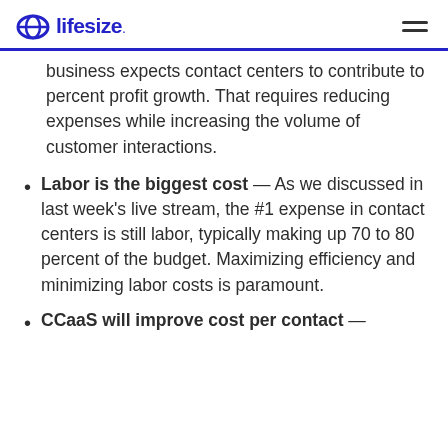lifesize
business expects contact centers to contribute to percent profit growth. That requires reducing expenses while increasing the volume of customer interactions.
Labor is the biggest cost — As we discussed in last week's live stream, the #1 expense in contact centers is still labor, typically making up 70 to 80 percent of the budget. Maximizing efficiency and minimizing labor costs is paramount.
CCaaS will improve cost per contact —